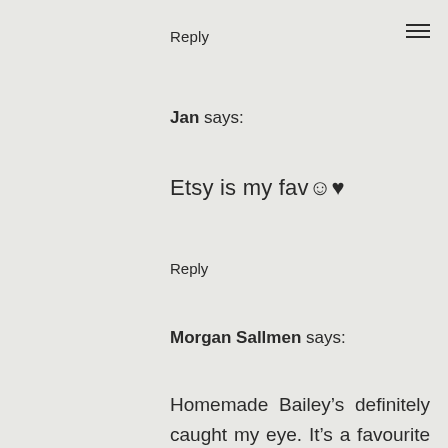Reply
Jan says:
Etsy is my fav☺♥
Reply
Morgan Sallmen says:
Homemade Bailey’s definitely caught my eye. It’s a favourite of mine ☺